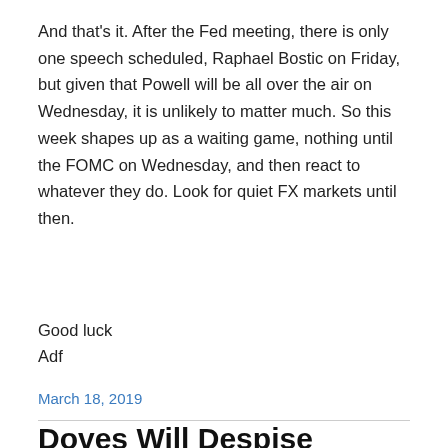And that's it. After the Fed meeting, there is only one speech scheduled, Raphael Bostic on Friday, but given that Powell will be all over the air on Wednesday, it is unlikely to matter much. So this week shapes up as a waiting game, nothing until the FOMC on Wednesday, and then react to whatever they do. Look for quiet FX markets until then.
Good luck
Adf
March 18, 2019
Doves Will Despise
Come two o'clock later today